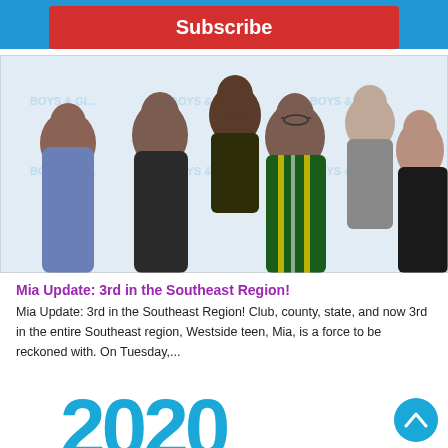Subscribe
[Figure (photo): Group photo of six people posing together in front of a Boys & Girls Club step-and-repeat banner backdrop. Five adults and one teen, smiling, dressed in professional/casual attire.]
Mia Update: 3rd in the Southeast Region!
Mia Update: 3rd in the Southeast Region! Club, county, state, and now 3rd in the entire Southeast region, Westside teen, Mia, is a force to be reckoned with. On Tuesday,...
[Figure (other): Large bold blue numerals '2020' partially visible at the bottom of the page, with a circular blue scroll-to-top button with an upward chevron arrow on the right side.]